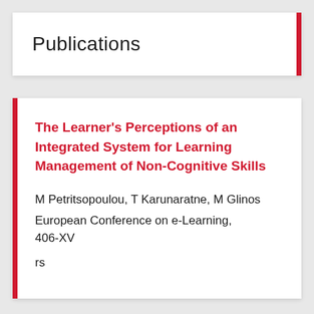Publications
The Learner's Perceptions of an Integrated System for Learning Management of Non-Cognitive Skills
M Petritsopoulou, T Karunaratne, M Glinos
European Conference on e-Learning, 406-XV
rs